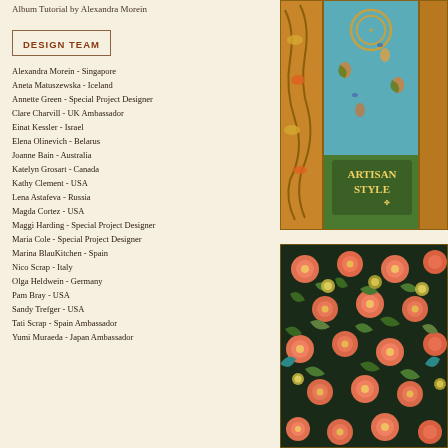Album Tutorial by Alexandra Morein
DESIGN TEAM
Alexandra Morein - Singapore
Aneta Matuszewska - Iceland
Annette Green - Special Project Designer
Clare Charvill - UK Ambassador
Einat Kessler - Israel
Elena Olinevich - Belarus
Joanne Bain - Australia
Katelyn Grosart - Canada
Kathy Clement - USA
Lena Astafeva - Russia
Magda Cortez - USA
Maggi Harding - Special Project Designer
Maria Cole - Special Project Designer
Marina BlauKitchen - Spain
Nico Scrap - Italy
Olga Heldwein - Germany
Pam Bray - USA
Sandy Trefger - USA
Tati Scrap - Spain Ambassador
Yumi Muraeda - Japan Ambassador
[Figure (illustration): Art nouveau decorative panel with ornamental scrollwork, floral motifs in orange, teal, and gold. Text reads 'ARTISAN STYLE' in stylized lettering.]
[Figure (illustration): Decorative floral pattern with orange and salmon flowers on a dark background with teal and green foliage, in an arts and crafts style.]